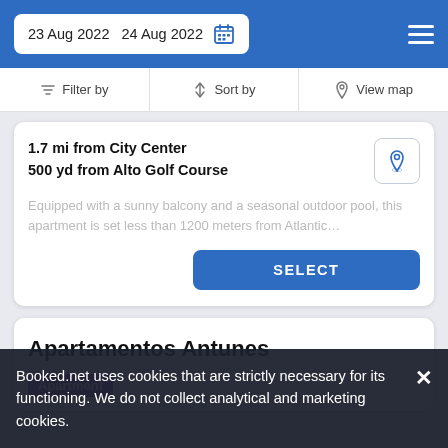23 Aug 2022  24 Aug 2022
Filter by  |  Sort by  |  View map
1.7 mi from City Center
500 yd from Alto Golf Course
Equipped with a sunny balcony and a seasonal outdoor pool, this apartment is set less than 1200 meters from Atlantic…
SELECT
Apartamentos Antunes
Apartment
Booked.net uses cookies that are strictly necessary for its functioning. We do not collect analytical and marketing cookies.